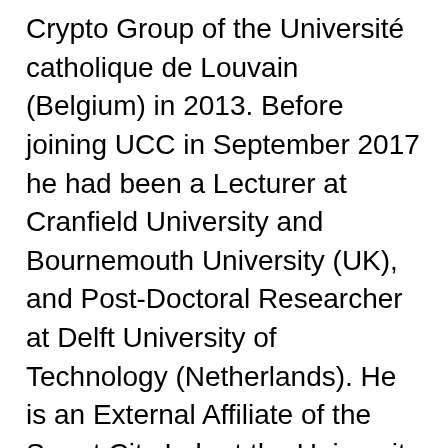Crypto Group of the Université catholique de Louvain (Belgium) in 2013. Before joining UCC in September 2017 he had been a Lecturer at Cranfield University and Bournemouth University (UK), and Post-Doctoral Researcher at Delft University of Technology (Netherlands). He is an External Affiliate of the Smart City Lab at the University of Bologna (Italy).
He has published widely on cryptography, privacy and security in international journals and peer-reviewed conferences and he chairs two international research events: Malicious Software and Hardware in Internet of Things (Mal-IoT) and the Location Privacy Workshop (LPW). His work on location privacy and secure cooperative computation of location information has been implemented a number of times and is currently